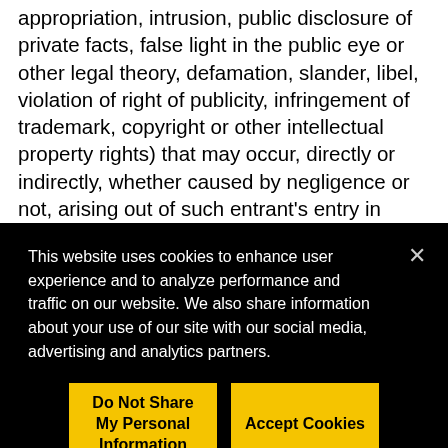appropriation, intrusion, public disclosure of private facts, false light in the public eye or other legal theory, defamation, slander, libel, violation of right of publicity, infringement of trademark, copyright or other intellectual property rights) that may occur, directly or indirectly, whether caused by negligence or not, arising out of such entrant's entry in Giveaway and/or such entrant's acceptance, possession, use and/or misuse of the prize; and (B) to indemnify, defend and hold harmless Released Parties from and
This website uses cookies to enhance user experience and to analyze performance and traffic on our website. We also share information about your use of our site with our social media, advertising and analytics partners.
Do Not Share My Personal Information
Accept Cookies